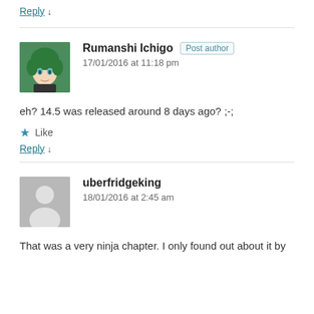Reply ↓
Rumanshi Ichigo  Post author
17/01/2016 at 11:18 pm
eh? 14.5 was released around 8 days ago? ;-;
★ Like
Reply ↓
uberfridgeking
18/01/2016 at 2:45 am
That was a very ninja chapter. I only found out about it by